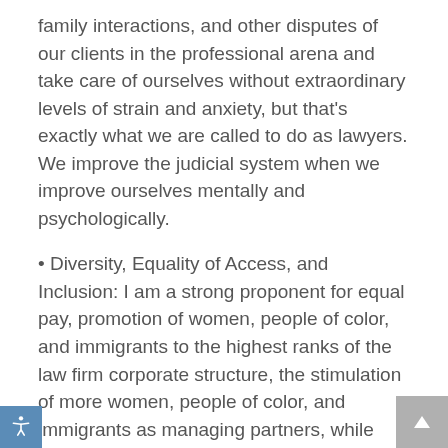family interactions, and other disputes of our clients in the professional arena and take care of ourselves without extraordinary levels of strain and anxiety, but that's exactly what we are called to do as lawyers. We improve the judicial system when we improve ourselves mentally and psychologically.
• Diversity, Equality of Access, and Inclusion: I am a strong proponent for equal pay, promotion of women, people of color, and immigrants to the highest ranks of the law firm corporate structure, the stimulation of more women, people of color, and immigrants as managing partners, while giving more women a meaningful voice at executive levels in law firms. More work must be done to ensure that all the above-named groups have a fair